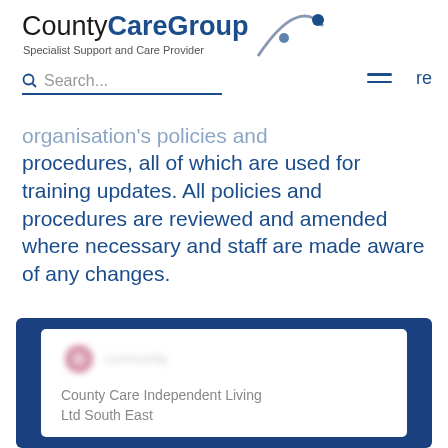[Figure (logo): County Care Group logo with stylized figure and text 'Specialist Support and Care Provider']
organisation's policies and procedures, all of which are used for training updates. All policies and procedures are reviewed and amended where necessary and staff are made aware of any changes.
County Care Group, April 2021
[Figure (screenshot): Card with blurred logo and text: County Care Independent Living Ltd South East]